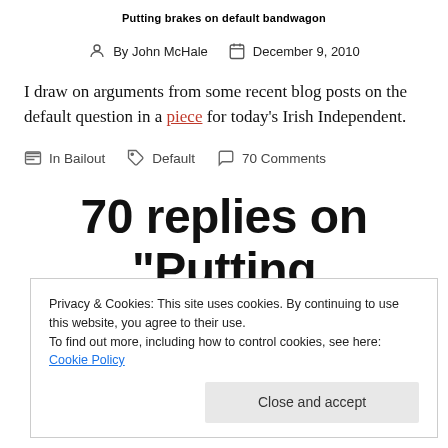Putting brakes on default bandwagon
By John McHale   December 9, 2010
I draw on arguments from some recent blog posts on the default question in a piece for today's Irish Independent.
In Bailout   Default   70 Comments
70 replies on “Putting brakes on default
Privacy & Cookies: This site uses cookies. By continuing to use this website, you agree to their use.
To find out more, including how to control cookies, see here: Cookie Policy